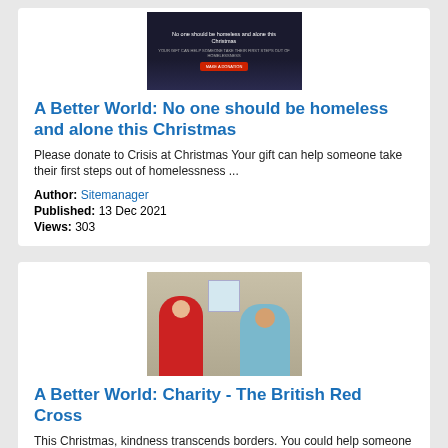[Figure (photo): Crisis at Christmas charity advertisement image showing a person with text 'No one should be homeless and alone this Christmas' with a red donate button]
A Better World: No one should be homeless and alone this Christmas
Please donate to Crisis at Christmas Your gift can help someone take their first steps out of homelessness ...
Author: Sitemanager
Published: 13 Dec 2021
Views: 303
[Figure (photo): Photo of a Red Cross worker in red uniform sitting and speaking with an elderly person in a home setting]
A Better World: Charity - The British Red Cross
This Christmas, kindness transcends borders. You could help someone in crisis in the UK, and someone overseas.    Things are becoming urgent and we're...